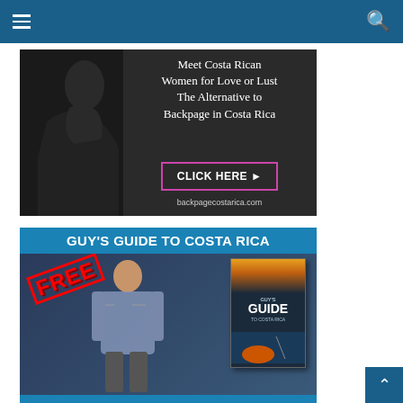[Figure (screenshot): Navigation bar with hamburger menu icon on left and search icon on right, dark blue background]
[Figure (photo): Advertisement banner: Meet Costa Rican Women for Love or Lust - The Alternative to Backpage in Costa Rica. CLICK HERE button. backpagecostarica.com]
[Figure (photo): Guy's Guide to Costa Rica advertisement banner with FREE label, man with backpack, and book cover image]